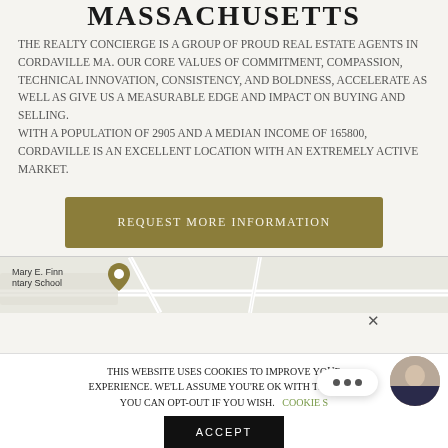Massachusetts
The Realty Concierge is a group of proud real estate agents in Cordaville MA. Our core values of commitment, compassion, technical innovation, consistency, and boldness, accelerate as well as give us a measurable edge and impact on buying and selling. With a population of 2905 and a median income of 165800, Cordaville is an excellent location with an extremely active market.
Request More Information
[Figure (map): Map snippet showing Mary E. Finn Elementary School area]
This website uses cookies to improve your experience. We'll assume you're ok with this, but you can opt-out if you wish. Cookie Settings Accept